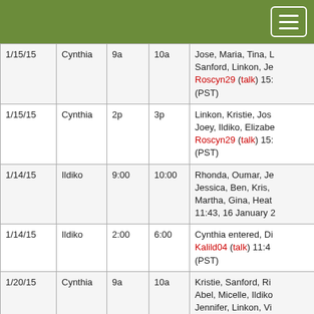| Date | Name | Start | End | Notes |
| --- | --- | --- | --- | --- |
| 1/15/15 | Cynthia | 9a | 10a | Jose, Maria, Tina, L... Sanford, Linkon, Je... Roscyn29 (talk) 15:... (PST) |
| 1/15/15 | Cynthia | 2p | 3p | Linkon, Kristie, Jos... Joey, Ildiko, Elizabe... Roscyn29 (talk) 15:... (PST) |
| 1/14/15 | Ildiko | 9:00 | 10:00 | Rhonda, Oumar, Je... Jessica, Ben, Kris, Martha, Gina, Heat... 11:43, 16 January 2... |
| 1/14/15 | Ildiko | 2:00 | 6:00 | Cynthia entered, Di... Kalild04 (talk) 11:4... (PST) |
| 1/20/15 | Cynthia | 9a | 10a | Kristie, Sanford, Ri... Abel, Micelle, Ildiko Jennifer, Linkon, Vi... Rhonda, Thomas, R... |